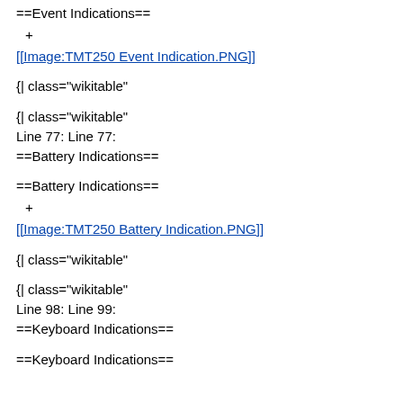==Event Indications==
+
[[Image:TMT250 Event Indication.PNG]]
{| class="wikitable"
{| class="wikitable"
Line 77: Line 77:
==Battery Indications==
==Battery Indications==
+
[[Image:TMT250 Battery Indication.PNG]]
{| class="wikitable"
{| class="wikitable"
Line 98: Line 99:
==Keyboard Indications==
==Keyboard Indications==